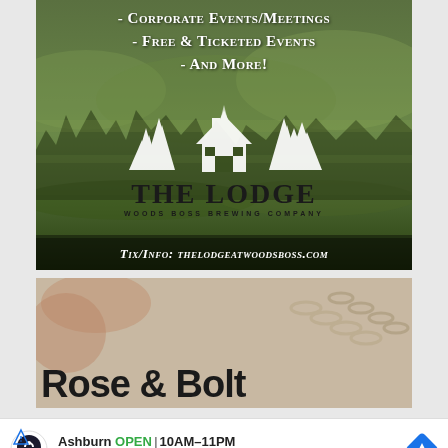[Figure (illustration): The Lodge at Woods Boss Brewing Company advertisement. Dark green forest background with white text bullet points: '- Corporate events/meetings', '- Free & ticketed events', '- And more!'. White illustrated logo of trees and cabin above 'THE LODGE' text in large black letters, 'WOODS BOSS BREWING COMPANY' below. Bottom banner: 'Tix/Info: thelodgeatwoodsboss.com']
[Figure (illustration): Rose & Bolt advertisement. Beige/warm background with jewelry image. Large bold text 'ROSE & BOLT' in black.]
[Figure (illustration): Topgolf advertisement banner. Shows Topgolf logo, location 'Ashburn', status 'OPEN', hours '10AM-11PM', address '20356 Commonwealth Center...' with navigation arrow icon.]